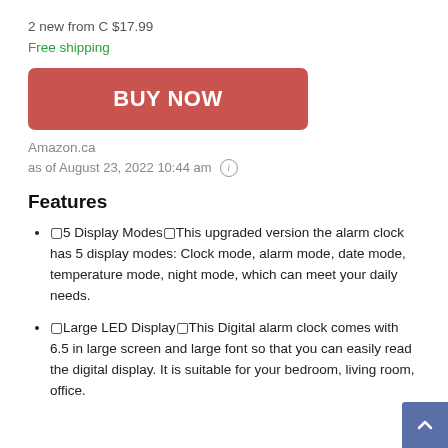2 new from C $17.99
Free shipping
[Figure (other): Red BUY NOW button]
Amazon.ca
as of August 23, 2022 10:44 am ⓘ
Features
🔲5 Display Modes🔲This upgraded version the alarm clock has 5 display modes: Clock mode, alarm mode, date mode, temperature mode, night mode, which can meet your daily needs.
🔲Large LED Display🔲This Digital alarm clock comes with 6.5 in large screen and large font so that you can easily read the digital display. It is suitable for your bedroom, living room, office.